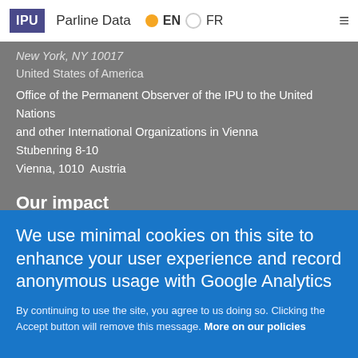IPU  Parline Data  EN  FR
New York, NY 10017
United States of America
Office of the Permanent Observer of the IPU to the United Nations and other International Organizations in Vienna
Stubenring 8-10
Vienna, 1010  Austria
Our impact
Our work
Strong parliaments
Gender equality
Parliamentary dialogue
We use minimal cookies on this site to enhance your user experience and record anonymous usage with Google Analytics
By continuing to use the site, you agree to us doing so. Clicking the Accept button will remove this message. More on our policies